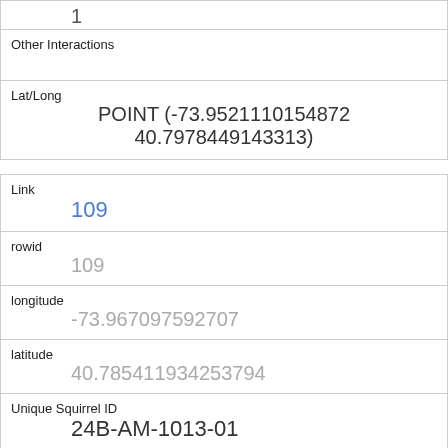| Other Interactions |  |
| Lat/Long | POINT (-73.9521110154872 40.7978449143313) |
| Link | 109 |
| rowid | 109 |
| longitude | -73.967097592707 |
| latitude | 40.785411934253794 |
| Unique Squirrel ID | 24B-AM-1013-01 |
| Hectare | 24B |
| Shift | AM |
| Date |  |